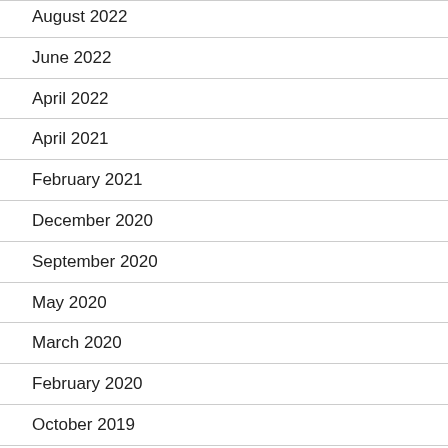August 2022
June 2022
April 2022
April 2021
February 2021
December 2020
September 2020
May 2020
March 2020
February 2020
October 2019
September 2019